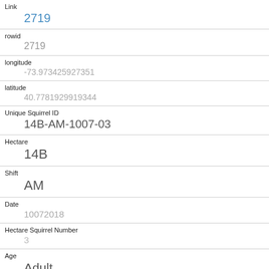| Field | Value |
| --- | --- |
| Link | 2719 |
| rowid | 2719 |
| longitude | -73.973425927351 |
| latitude | 40.7781929919344 |
| Unique Squirrel ID | 14B-AM-1007-03 |
| Hectare | 14B |
| Shift | AM |
| Date | 10072018 |
| Hectare Squirrel Number | 3 |
| Age | Adult |
| Primary Fur Color |  |